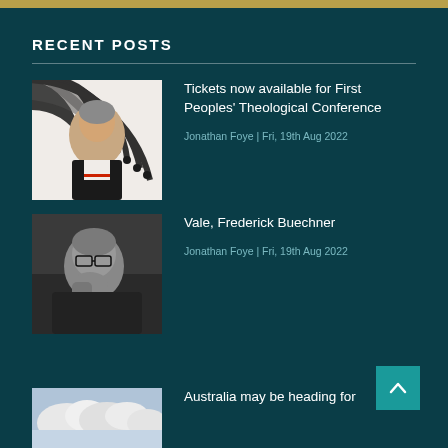RECENT POSTS
[Figure (photo): Photo of a woman smiling, with a decorative black and white circular design in the background]
Tickets now available for First Peoples' Theological Conference
Jonathan Foye | Fri, 19th Aug 2022
[Figure (photo): Black and white photo of an older man with glasses, resting his chin on his hand in a thoughtful pose]
Vale, Frederick Buechner
Jonathan Foye | Fri, 19th Aug 2022
[Figure (photo): Photo of clouds in a sky]
Australia may be heading for